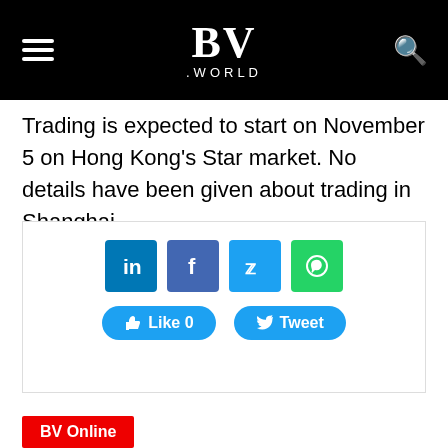BV .WORLD
Trading is expected to start on November 5 on Hong Kong's Star market. No details have been given about trading in Shanghai.
Ma, 55, has pledged to reduce his direct and indirect stakes in Ant Group to 8.8 percent. He has an estimated personal fortune of $61bn.
[Figure (infographic): Social share buttons: LinkedIn, Facebook, Twitter, WhatsApp icons, plus Like 0 and Tweet buttons]
BV Online